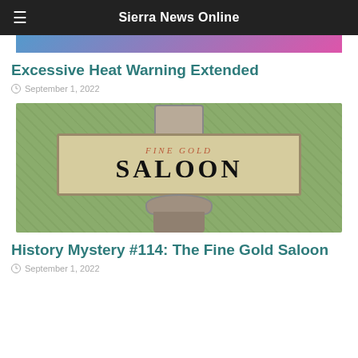Sierra News Online
[Figure (photo): Partial top image cropped, showing colorful scene with blue and pink colors]
Excessive Heat Warning Extended
September 1, 2022
[Figure (photo): A weathered wooden sign reading 'FINE GOLD SALOON' leaning against an ornate chair on grass]
History Mystery #114: The Fine Gold Saloon
September 1, 2022